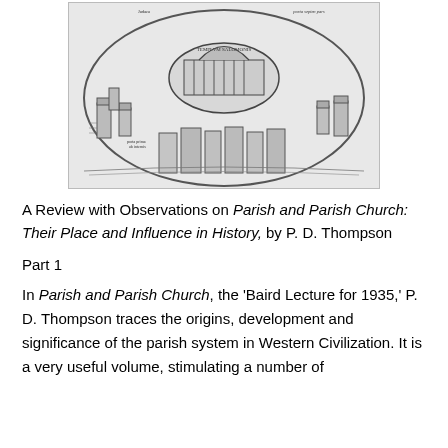[Figure (illustration): Medieval woodcut-style illustration of a walled city with a large domed temple or church at the center, surrounded by towers, buildings, and walls. Text labels visible on the image including what appears to be 'TEMPLVM SALOMONIS'.]
A Review with Observations on Parish and Parish Church: Their Place and Influence in History, by P. D. Thompson
Part 1
In Parish and Parish Church, the 'Baird Lecture for 1935,' P. D. Thompson traces the origins, development and significance of the parish system in Western Civilization. It is a very useful volume, stimulating a number of